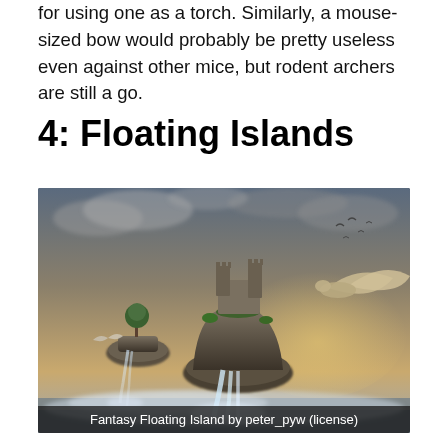for using one as a torch. Similarly, a mouse-sized bow would probably be pretty useless even against other mice, but rodent archers are still a go.
4: Floating Islands
[Figure (illustration): Fantasy digital artwork of floating rocky islands with waterfalls, a castle on the largest island, trees, and large birds flying in a dramatic sky.]
Fantasy Floating Island by peter_pyw (license)